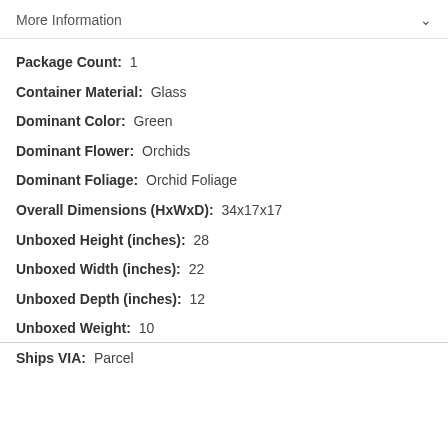More Information
Package Count:  1
Container Material:  Glass
Dominant Color:  Green
Dominant Flower:  Orchids
Dominant Foliage:  Orchid Foliage
Overall Dimensions (HxWxD):  34x17x17
Unboxed Height (inches):  28
Unboxed Width (inches):  22
Unboxed Depth (inches):  12
Unboxed Weight:  10
Ships VIA:  Parcel